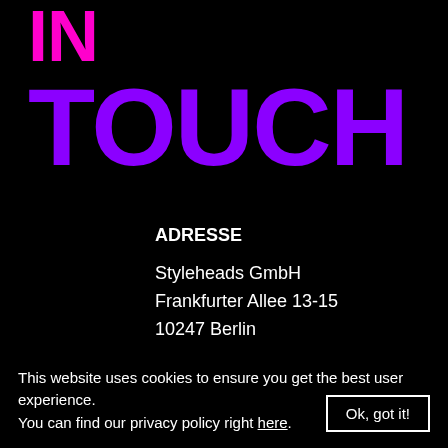TOUCH
ADRESSE
Styleheads GmbH
Frankfurter Allee 13-15
10247 Berlin
This website uses cookies to ensure you get the best user experience.
You can find our privacy policy right here.
Ok, got it!